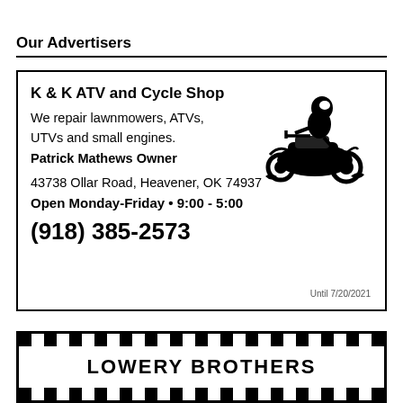Our Advertisers
[Figure (other): Advertisement for K & K ATV and Cycle Shop. Contains business name, services (repair lawnmowers, ATVs, UTVs and small engines), owner name (Patrick Mathews Owner), address (43738 Ollar Road, Heavener, OK 74937), hours (Open Monday-Friday • 9:00 - 5:00), phone number (918) 385-2573, an illustration of an ATV with rider, and the text 'Until 7/20/2021'.]
[Figure (other): Bottom advertisement with checkerboard border pattern and large bold text partially visible, appearing to read 'LOWERY BROTHERS' or similar.]